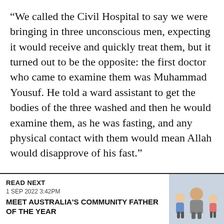“We called the Civil Hospital to say we were bringing in three unconscious men, expecting it would receive and quickly treat them, but it turned out to be the opposite: the first doctor who came to examine them was Muhammad Yousuf. He told a ward assistant to get the bodies of the three washed and then he would examine them, as he was fasting, and any physical contact with them would mean Allah would disapprove of his fast.”
“This same attitude was adopted by two doctors
READ NEXT
1 SEP 2022 3:42PM
MEET AUSTRALIA'S COMMUNITY FATHER OF THE YEAR